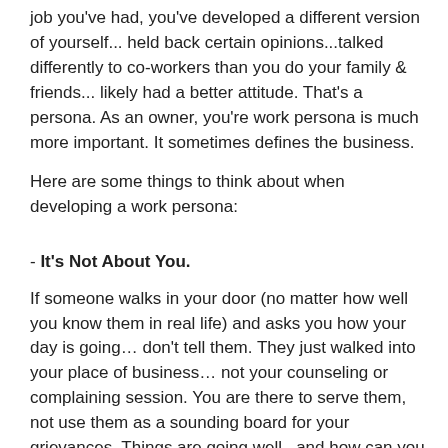job you've had, you've developed a different version of yourself... held back certain opinions...talked differently to co-workers than you do your family & friends... likely had a better attitude. That's a persona. As an owner, you're work persona is much more important. It sometimes defines the business.
Here are some things to think about when developing a work persona:
- It's Not About You.
If someone walks in your door (no matter how well you know them in real life) and asks you how your day is going… don't tell them. They just walked into your place of business… not your counseling or complaining session. You are there to serve them, not use them as a sounding board for your grievances. Things are going well.. and how can you help them?